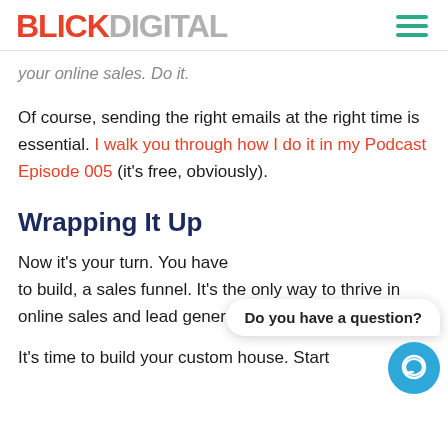BLICKDIGITAL
your online sales. Do it.
Of course, sending the right emails at the right time is essential. I walk you through how I do it in my Podcast Episode 005 (it's free, obviously).
Wrapping It Up
Now it's your turn. You have to build, a sales funnel. It's the only way to thrive in online sales and lead generation
It's time to build your custom house. Start